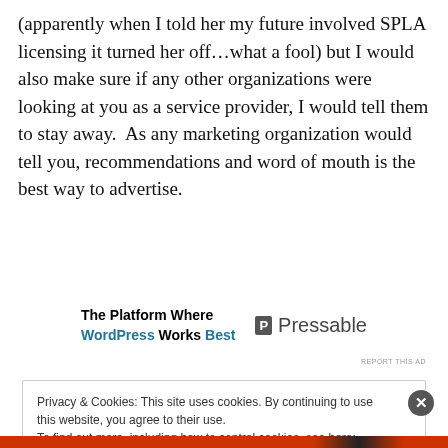(apparently when I told her my future involved SPLA licensing it turned her off…what a fool) but I would also make sure if any other organizations were looking at you as a service provider, I would tell them to stay away.  As any marketing organization would tell you, recommendations and word of mouth is the best way to advertise.
[Figure (other): Advertisement banner for Pressable: 'The Platform Where WordPress Works Best' with Pressable logo]
REPORT THIS AD
Privacy & Cookies: This site uses cookies. By continuing to use this website, you agree to their use.
To find out more, including how to control cookies, see here: Cookie Policy
Close and accept